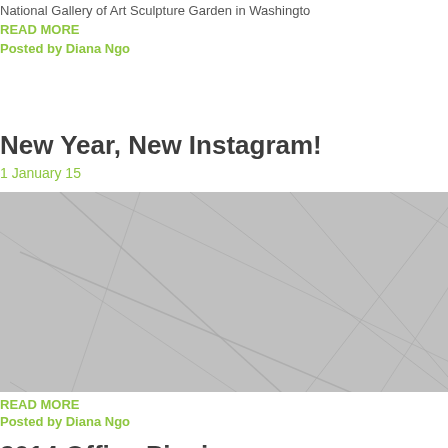National Gallery of Art Sculpture Garden in Washingto…
READ MORE
Posted by Diana Ngo
New Year, New Instagram!
1 January 15
[Figure (photo): Gray abstract geometric line pattern image with text 'HAPPY NEW YE…' in white at the bottom]
READ MORE
Posted by Diana Ngo
2014 Office Picnic
31 July 14